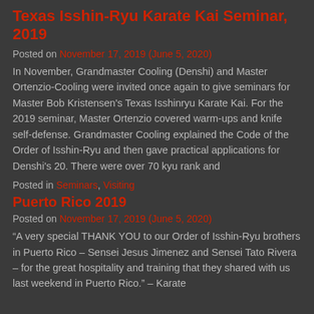Texas Isshin-Ryu Karate Kai Seminar, 2019
Posted on November 17, 2019 (June 5, 2020)
In November, Grandmaster Cooling (Denshi) and Master Ortenzio-Cooling were invited once again to give seminars for Master Bob Kristensen's Texas Isshinryu Karate Kai. For the 2019 seminar, Master Ortenzio covered warm-ups and knife self-defense. Grandmaster Cooling explained the Code of the Order of Isshin-Ryu and then gave practical applications for Denshi's 20. There were over 70 kyu rank and
Posted in Seminars, Visiting
Puerto Rico 2019
Posted on November 17, 2019 (June 5, 2020)
“A very special THANK YOU to our Order of Isshin-Ryu brothers in Puerto Rico – Sensei Jesus Jimenez and Sensei Tato Rivera – for the great hospitality and training that they shared with us last weekend in Puerto Rico.” – Karate